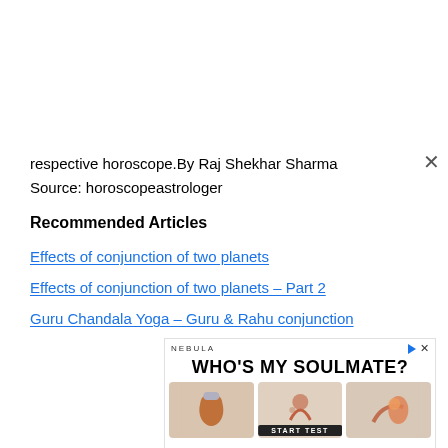respective horoscope.By Raj Shekhar Sharma
Source: horoscopeastrologer
Recommended Articles
Effects of conjunction of two planets
Effects of conjunction of two planets – Part 2
Guru Chandala Yoga – Guru & Rahu conjunction
[Figure (infographic): Advertisement banner for Nebula app asking 'WHO'S MY SOULMATE?' with three illustrated animal character cards and a START TEST button.]